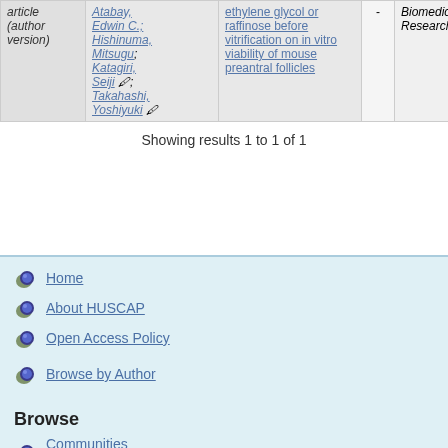| Type | Authors | Title |  | Journal |  | Date |
| --- | --- | --- | --- | --- | --- | --- |
| article (author version) | Atabay, Edwin C.; Hishinuma, Mitsugu; Katagiri, Seiji; Takahashi, Yoshiyuki | ethylene glycol or raffinose before vitrification on in vitro viability of mouse preantral follicles | - | Biomedical Research | - | Jun-20 |
Showing results 1 to 1 of 1
Home
About HUSCAP
Open Access Policy
Browse by Author
Browse
Communities & Collections